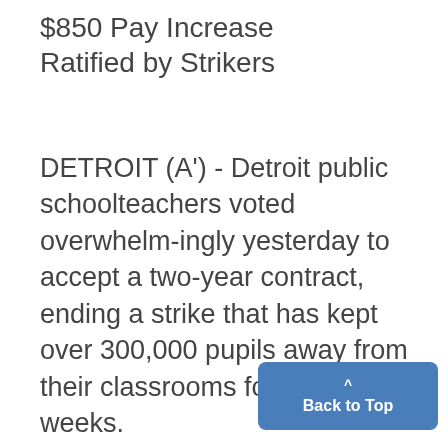$850 Pay Increase
Ratified by Strikers
DETROIT (A') - Detroit public schoolteachers voted overwhelmingly yesterday to accept a two-year contract, ending a strike that has kept over 300,000 pupils away from their classrooms for two, weeks.
By an unofficial tally of 3346-' 374, the teachers ratified an agreement that had been hammered in an all-night bargaining sessio A spokesman for the school